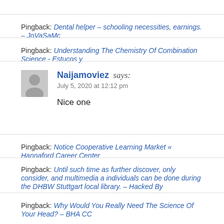Pingback: Dental helper – schooling necessities, earnings. – JoVaSaMc
Pingback: Understanding The Chemistry Of Combination Science - Estucos y
Naijamoviez says: July 5, 2020 at 12:12 pm
Nice one
Pingback: Notice Cooperative Learning Market « Hannaford Career Center
Pingback: Until such time as further discover, only consider, and multimedia a individuals can be done during the DHBW Stuttgart local library. – Hacked By
Pingback: Why Would You Really Need The Science Of Your Head? – BHA CC